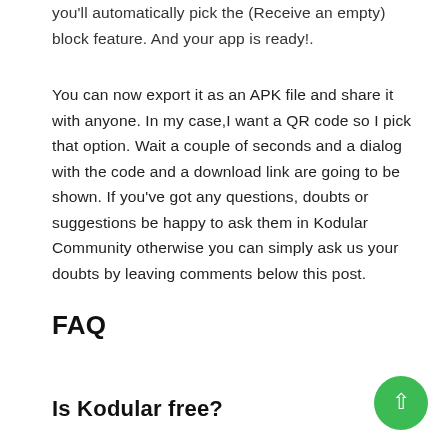you'll automatically pick the (Receive an empty) block feature. And your app is ready!.
You can now export it as an APK file and share it with anyone. In my case,I want a QR code so I pick that option. Wait a couple of seconds and a dialog with the code and a download link are going to be shown. If you've got any questions, doubts or suggestions be happy to ask them in Kodular Community otherwise you can simply ask us your doubts by leaving comments below this post.
FAQ
Is Kodular free?